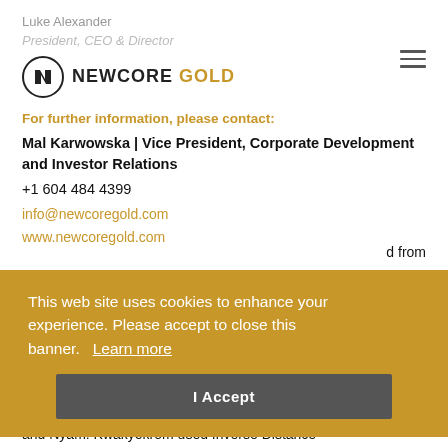Luke Alexander
President, CEO & Director
[Figure (logo): Newcore Gold logo: circle with N icon, text NEWCORE GOLD]
For further information, please contact:
Mal Karwowska | Vice President, Corporate Development and Investor Relations
+1 604 484 4399
info@newcoregold.com
www.newcoregold.com
d from
This web site uses cookies to enhance your experience. Please accept to close this banner.   Learn more
I Accept
g (OK) ck amed Boin
and Nyam. Kwakyekrom used Inverse Distance